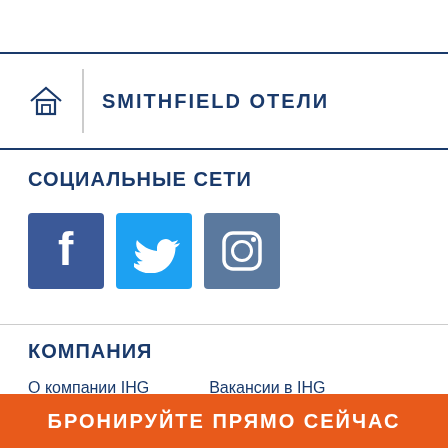SMITHFIELD ОТЕЛИ
СОЦИАЛЬНЫЕ СЕТИ
[Figure (infographic): Three social media icons: Facebook (dark blue), Twitter (light blue), Instagram (blue-grey)]
КОМПАНИЯ
О компании IHG
Вакансии в IHG
БРОНИРУЙТЕ ПРЯМО СЕЙЧАС